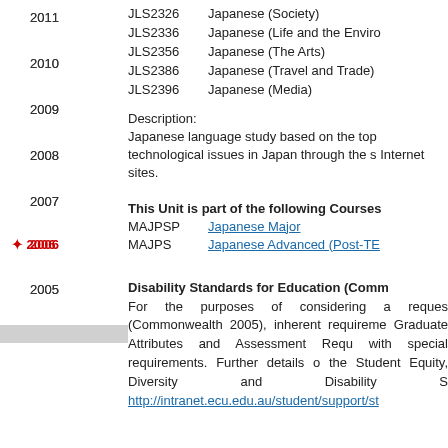2011
2010
2009
2008
2007
2006 (active)
2005
| Code | Name |
| --- | --- |
| JLS2326 | Japanese (Society) |
| JLS2336 | Japanese (Life and the Enviro...) |
| JLS2356 | Japanese (The Arts) |
| JLS2386 | Japanese (Travel and Trade) |
| JLS2396 | Japanese (Media) |
Description:
Japanese language study based on the top... technological issues in Japan through the s... Internet sites.
This Unit is part of the following Courses
MAJPSP    Japanese Major
MAJPS    Japanese Advanced (Post-TE...)
Disability Standards for Education (Comm...)
For the purposes of considering a reques... (Commonwealth 2005), inherent requireme... Graduate Attributes and Assessment Requ... with special requirements. Further details o... the Student Equity, Diversity and Disability S... http://intranet.ecu.edu.au/student/support/st...